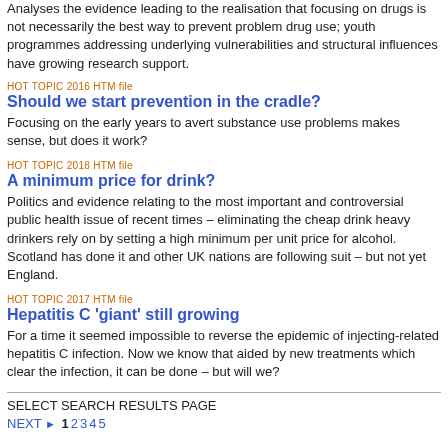Analyses the evidence leading to the realisation that focusing on drugs is not necessarily the best way to prevent problem drug use; youth programmes addressing underlying vulnerabilities and structural influences have growing research support.
HOT TOPIC 2016 HTM file
Should we start prevention in the cradle?
Focusing on the early years to avert substance use problems makes sense, but does it work?
HOT TOPIC 2018 HTM file
A minimum price for drink?
Politics and evidence relating to the most important and controversial public health issue of recent times – eliminating the cheap drink heavy drinkers rely on by setting a high minimum per unit price for alcohol. Scotland has done it and other UK nations are following suit – but not yet England.
HOT TOPIC 2017 HTM file
Hepatitis C 'giant' still growing
For a time it seemed impossible to reverse the epidemic of injecting-related hepatitis C infection. Now we know that aided by new treatments which clear the infection, it can be done – but will we?
SELECT SEARCH RESULTS PAGE
NEXT ▶ 1 2 3 4 5